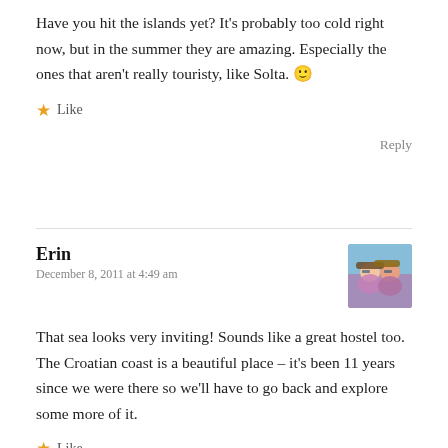Have you hit the islands yet? It's probably too cold right now, but in the summer they are amazing. Especially the ones that aren't really touristy, like Solta. 🙂
★ Like
Reply
Erin
December 8, 2011 at 4:49 am
[Figure (photo): Avatar photo of two people wearing hats and sunglasses outdoors]
That sea looks very inviting! Sounds like a great hostel too. The Croatian coast is a beautiful place – it's been 11 years since we were there so we'll have to go back and explore some more of it.
★ Like